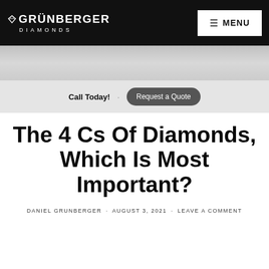GRÜNBERGER DIAMONDS — MENU
[Figure (logo): Grünberger Diamonds logo with diamond icon, white text on black background]
Call Today! · Request a Quote
The 4 Cs Of Diamonds, Which Is Most Important?
DANIEL GRUNBERGER · AUGUST 3, 2021 · LEAVE A COMMENT